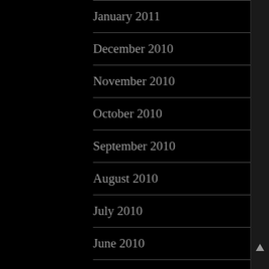January 2011
December 2010
November 2010
October 2010
September 2010
August 2010
July 2010
June 2010
May 2010
April 2010
March 2010
February 2010